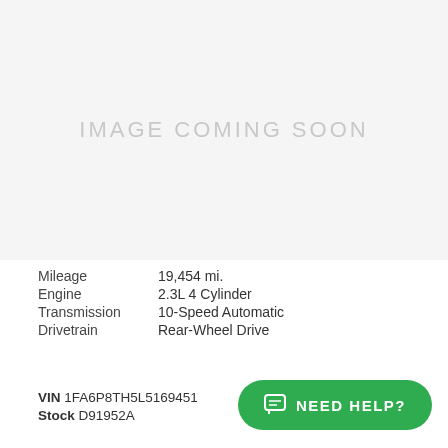[Figure (other): Image placeholder with text 'IMAGE COMING SOON' on a light gray background]
Mileage	19,454 mi.
Engine	2.3L 4 Cylinder
Transmission	10-Speed Automatic
Drivetrain	Rear-Wheel Drive
VIN 1FA6P8TH5L5169451
Stock D91952A